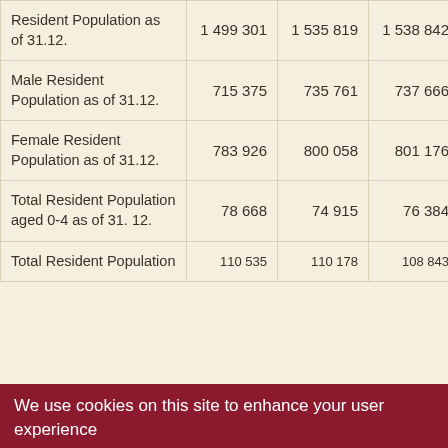|  | Col1 | Col2 | Col3 | Col4 | Col5+ |
| --- | --- | --- | --- | --- | --- |
| Resident Population as of 31.12. | 1 499 301 | 1 535 819 | 1 538 842 | 1 543 377 | 1 5… |
| Male Resident Population as of 31.12. | 715 375 | 735 761 | 737 666 | 740 396 | 7… |
| Female Resident Population as of 31.12. | 783 926 | 800 058 | 801 176 | 802 981 | 8… |
| Total Resident Population aged 0-4 as of 31. 12. | 78 668 | 74 915 | 76 384 | 76 550 |  |
| Total Resident Population… | 11…535 | 11…178 | 10…843 | 10…6 478 |  |
We use cookies on this site to enhance your user experience